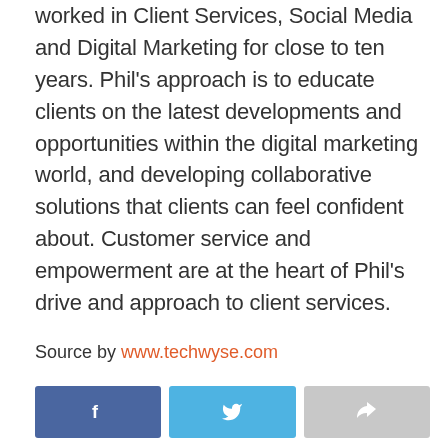worked in Client Services, Social Media and Digital Marketing for close to ten years. Phil's approach is to educate clients on the latest developments and opportunities within the digital marketing world, and developing collaborative solutions that clients can feel confident about. Customer service and empowerment are at the heart of Phil's drive and approach to client services.
Source by www.techwyse.com
[Figure (other): Three social share buttons: Facebook (blue), Twitter (light blue), and a share/forward button (grey), each with white icons.]